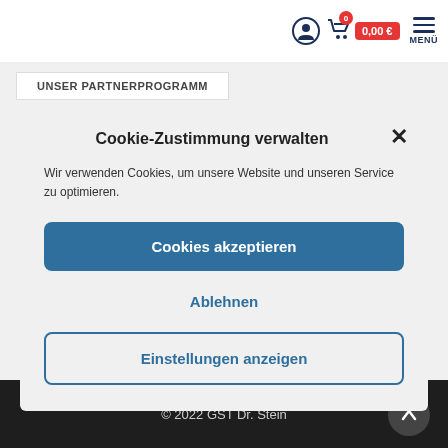0  0,00 €  MENÜ
UNSER PARTNERPROGRAMM
Cookie-Zustimmung verwalten
Wir verwenden Cookies, um unsere Website und unseren Service zu optimieren.
Cookies akzeptieren
Ablehnen
Einstellungen anzeigen
© 2022 GST Dr. Stein